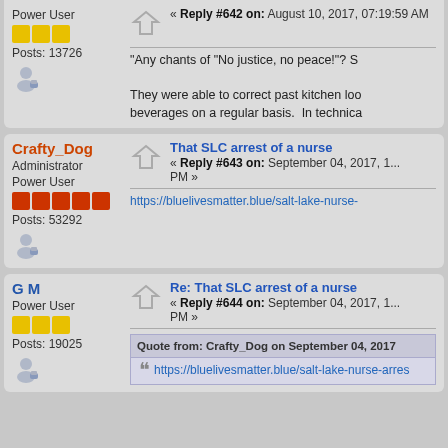Power User
Posts: 13726
« Reply #642 on: August 10, 2017, 07:19:59 AM
"Any chants of "No justice, no peace!"? S...
They were able to correct past kitchen loo... beverages on a regular basis. In technica...
Crafty_Dog
Administrator
Power User
Posts: 53292
That SLC arrest of a nurse
« Reply #643 on: September 04, 2017, 1... PM »
https://bluelivesmatter.blue/salt-lake-nurse-...
G M
Power User
Posts: 19025
Re: That SLC arrest of a nurse
« Reply #644 on: September 04, 2017, 1... PM »
Quote from: Crafty_Dog on September 04, 2017
https://bluelivesmatter.blue/salt-lake-nurse-arres...